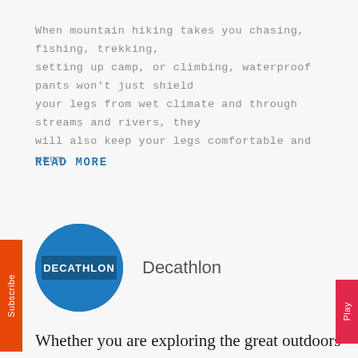When mountain hiking takes you chasing, fishing, trekking, setting up camp, or climbing, waterproof pants won't just shield your legs from wet climate and through streams and rivers, they will also keep your legs comfortable and warm.
READ MORE
[Figure (logo): Decathlon circular blue logo with white text 'DECATHLON' in the center]
Decathlon
Whether you are exploring the great outdoors or you simply want to appreciate nature with a long hike, you must be ready for what the elements may have in store for you.  No one can tell where your feet will take you when setting up camp.  That is